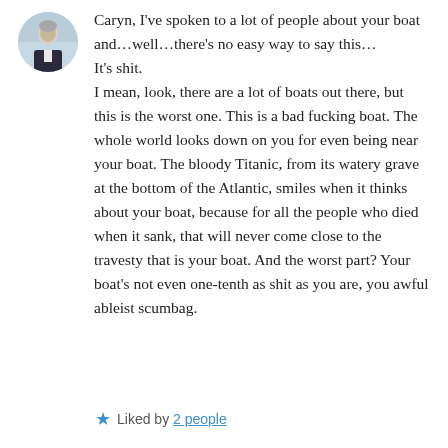[Figure (photo): Circular avatar photo of a man in a dark suit with grey/white hair, outdoors with snowy background]
Caryn, I've spoken to a lot of people about your boat and…well…there's no easy way to say this…
It's shit.
I mean, look, there are a lot of boats out there, but this is the worst one. This is a bad fucking boat. The whole world looks down on you for even being near your boat. The bloody Titanic, from its watery grave at the bottom of the Atlantic, smiles when it thinks about your boat, because for all the people who died when it sank, that will never come close to the travesty that is your boat. And the worst part? Your boat's not even one-tenth as shit as you are, you awful ableist scumbag.
Liked by 2 people